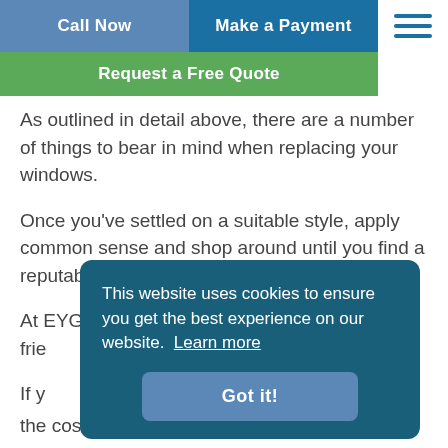Call Now | Make a Payment | Request a Free Quote
As outlined in detail above, there are a number of things to bear in mind when replacing your windows.
Once you've settled on a suitable style, apply common sense and shop around until you find a reputable company to carry out the installation.
At EYG, we encourage people to tell their friends about us...
If y... fitting...
the cost of fitting them and VAT...
[Figure (screenshot): Cookie consent banner overlay: 'This website uses cookies to ensure you get the best experience on our website. Learn more' with a 'Got it!' button.]